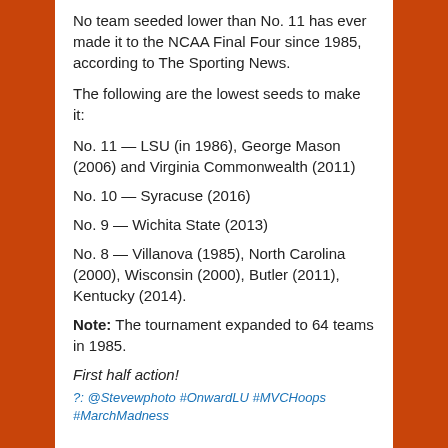No team seeded lower than No. 11 has ever made it to the NCAA Final Four since 1985, according to The Sporting News.
The following are the lowest seeds to make it:
No. 11 — LSU (in 1986), George Mason (2006) and Virginia Commonwealth (2011)
No. 10 — Syracuse (2016)
No. 9 — Wichita State (2013)
No. 8 — Villanova (1985), North Carolina (2000), Wisconsin (2000), Butler (2011), Kentucky (2014).
Note: The tournament expanded to 64 teams in 1985.
First half action!
?: @Stevewphoto #OnwardLU #MVCHoops #MarchMadness